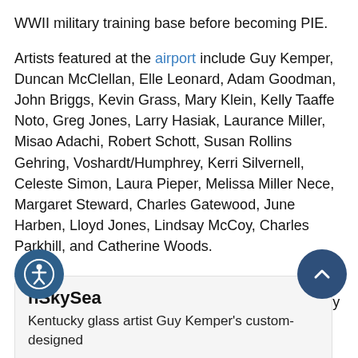WWII military training base before becoming PIE.
Artists featured at the airport include Guy Kemper, Duncan McClellan, Elle Leonard, Adam Goodman, John Briggs, Kevin Grass, Mary Klein, Kelly Taaffe Noto, Greg Jones, Larry Hasiak, Laurance Miller, Misao Adachi, Robert Schott, Susan Rollins Gehring, Voshardt/Humphrey, Kerri Silvernell, Celeste Simon, Laura Pieper, Melissa Miller Nece, Margaret Steward, Charles Gatewood, June Harben, Lloyd Jones, Lindsay McCoy, Charles Parkhill, and Catherine Woods.
The airport is proud to host this collection of Florida artists and hopes you have the opportunity to enjoy them in person.
nSkySea
Kentucky glass artist Guy Kemper's custom-designed